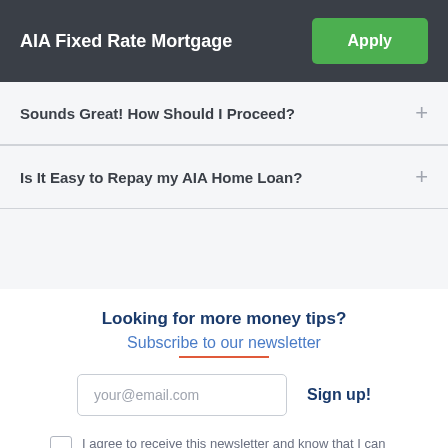AIA Fixed Rate Mortgage
Sounds Great! How Should I Proceed?
Is It Easy to Repay my AIA Home Loan?
Looking for more money tips?
Subscribe to our newsletter
your@email.com
Sign up!
I agree to receive this newsletter and know that I can easily unsubscribe at any time.